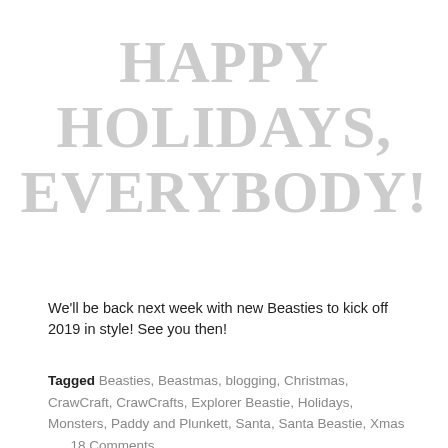HAPPY HOLIDAYS, EVERYBODY!
We'll be back next week with new Beasties to kick off 2019 in style! See you then!
Tagged Beasties, Beastmas, blogging, Christmas, CrawCraft, CrawCrafts, Explorer Beastie, Holidays, Monsters, Paddy and Plunkett, Santa, Santa Beastie, Xmas      18 Comments